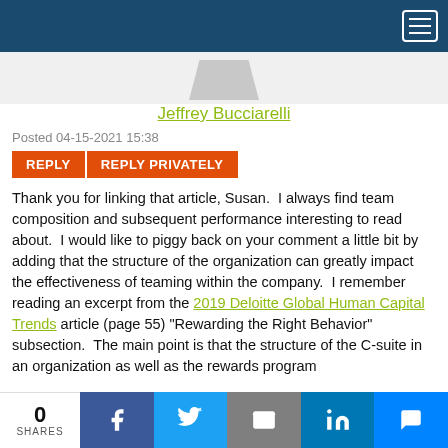Navigation bar with hamburger menu
[Figure (illustration): Partial user avatar (grey trapezoid shape at bottom of header area)]
Jeffrey Bucciarelli
Posted 04-15-2021 15:38
REPLY   REPLY PRIVATELY
Thank you for linking that article, Susan.  I always find team composition and subsequent performance interesting to read about.  I would like to piggy back on your comment a little bit by adding that the structure of the organization can greatly impact the effectiveness of teaming within the company.  I remember reading an excerpt from the 2019 Deloitte Global Human Capital Trends article (page 55) "Rewarding the Right Behavior" subsection.  The main point is that the structure of the C-suite in an organization as well as the rewards program
0 SHARES  [Facebook] [Twitter] [Email] [LinkedIn] [Messenger]